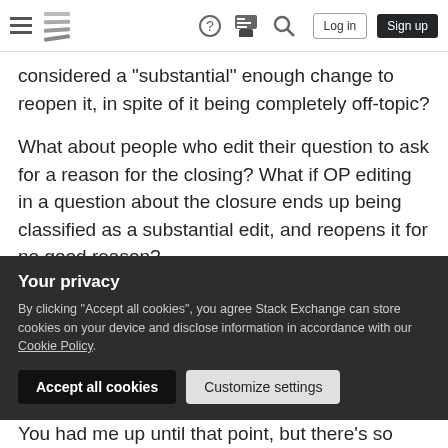Stack Exchange navigation bar with hamburger menu, logo, help, chat, search icons, Log in and Sign up buttons
considered a "substantial" enough change to reopen it, in spite of it being completely off-topic?
What about people who edit their question to ask for a reason for the closing? What if OP editing in a question about the closure ends up being classified as a substantial edit, and reopens it for no good reason?
And, because it has to be said, what about the abuse potential? People deciding to copy-paste the
Your privacy
By clicking "Accept all cookies", you agree Stack Exchange can store cookies on your device and disclose information in accordance with our Cookie Policy.
Accept all cookies
Customize settings
You had me up until that point, but there's so many